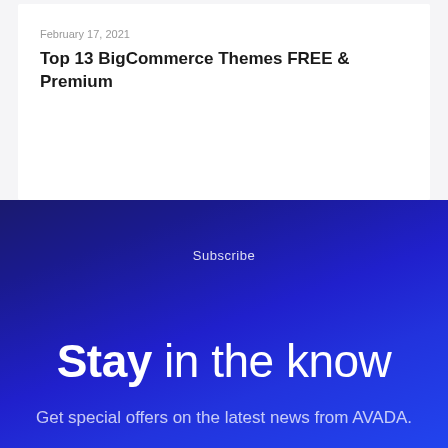February 17, 2021
Top 13 BigCommerce Themes FREE & Premium
Subscribe
Stay in the know
Get special offers on the latest news from AVADA.